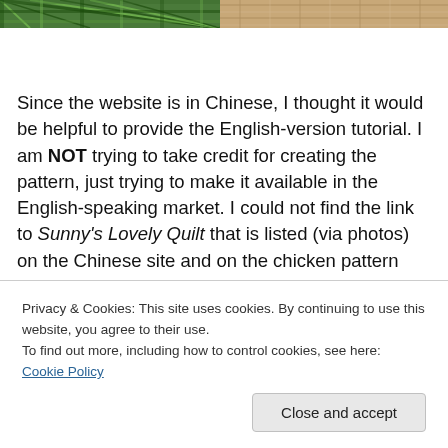[Figure (photo): Two side-by-side photos at the top of the page showing fabric/quilt patterns — left image shows a green plaid/tartan pattern, right image shows a tan/brown woven fabric texture.]
Since the website is in Chinese, I thought it would be helpful to provide the English-version tutorial. I am NOT trying to take credit for creating the pattern, just trying to make it available in the English-speaking market. I could not find the link to Sunny's Lovely Quilt that is listed (via photos) on the Chinese site and on the chicken pattern
Privacy & Cookies: This site uses cookies. By continuing to use this website, you agree to their use.
To find out more, including how to control cookies, see here: Cookie Policy
Close and accept